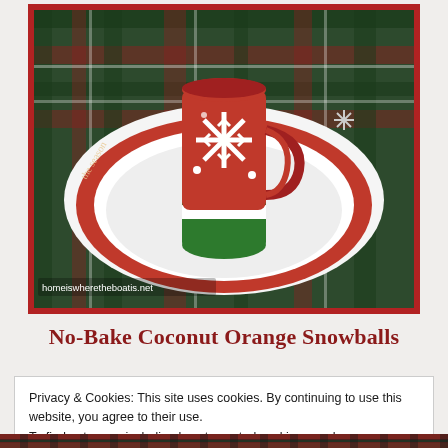[Figure (photo): A red Christmas mug with a white snowflake design sitting on a white saucer and red holiday plate, placed on a green plaid tablecloth. Watermark text reads: homeiswheretheboatis.net]
No-Bake Coconut Orange Snowballs
Privacy & Cookies: This site uses cookies. By continuing to use this website, you agree to their use.
To find out more, including how to control cookies, see here:
Cookie Policy
Close and accept